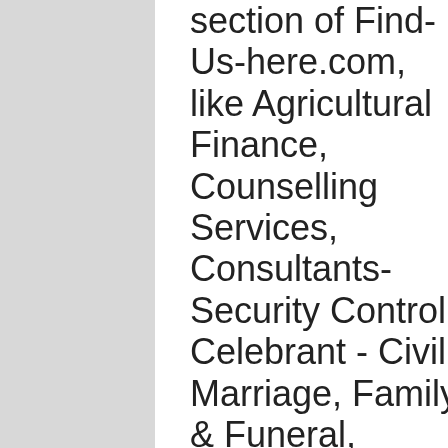section of Find-Us-here.com, like Agricultural Finance, Counselling Services, Consultants-Security Control, Celebrant - Civil Marriage, Family & Funeral, Administration of Economic Programs and many others so don't hesitate to use the country menus at the
[Figure (other): Dark navy blue button with an upward-pointing hollow arrow icon (scroll to top button)]